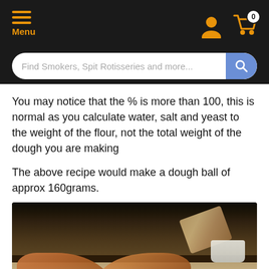Menu
You may notice that the % is more than 100, this is normal as you calculate water, salt and yeast to the weight of the flour, not the total weight of the dough you are making
The above recipe would make a dough ball of approx 160grams.
[Figure (photo): Hands kneading bread dough on a floured surface with a rolling pin and white bowl in the background]